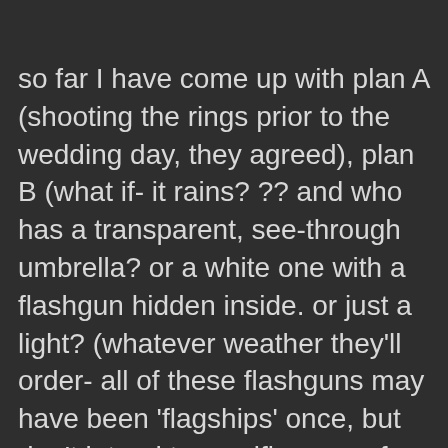so far I have come up with plan A (shooting the rings prior to the wedding day, they agreed), plan B (what if- it rains? ?? and who has a transparent, see-through umbrella? or a white one with a flashgun hidden inside. or just a light? (whatever weather they'll order- all of these flashguns may have been 'flagships' once, but don't intend to sacrifice any of them. how waterproof are they anyway? don't think they are). plan C: no more than a few shots + the fresh flowers of course and postpone the